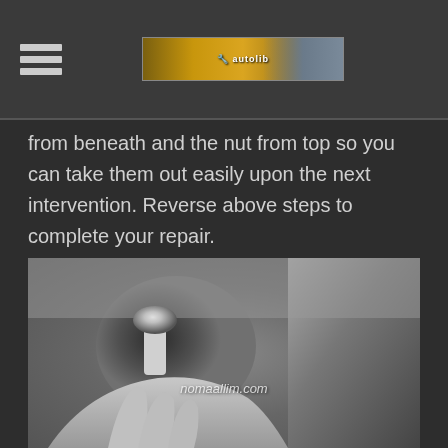[navigation header with hamburger menu and logo banner]
from beneath and the nut from top so you can take them out easily upon the next intervention. Reverse above steps to complete your repair.
[Figure (photo): Close-up photo of a person's gloved hands working on a wheel well/suspension bolt area of a vehicle, with the bolt and wheel arch visible. Watermark text: nomaallim.com]